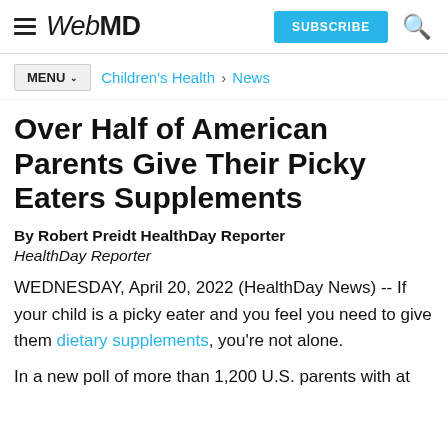WebMD | SUBSCRIBE
MENU | Children's Health > News
Over Half of American Parents Give Their Picky Eaters Supplements
By Robert Preidt HealthDay Reporter
HealthDay Reporter
WEDNESDAY, April 20, 2022 (HealthDay News) -- If your child is a picky eater and you feel you need to give them dietary supplements, you're not alone.
In a new poll of more than 1,200 U.S. parents with at least